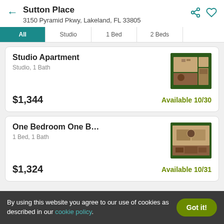Sutton Place
3150 Pyramid Pkwy, Lakeland, FL 33805
Studio | Studio | 1 Bed | 2 Beds
Studio Apartment
Studio, 1 Bath
$1,344
Available 10/30
One Bedroom One B…
1 Bed, 1 Bath
$1,324
Available 10/31
By using this website you agree to our use of cookies as described in our cookie policy.